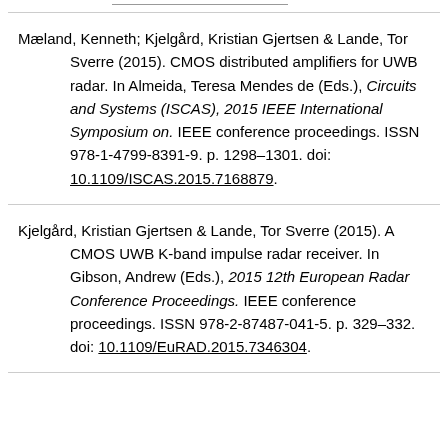Mæland, Kenneth; Kjelgård, Kristian Gjertsen & Lande, Tor Sverre (2015). CMOS distributed amplifiers for UWB radar. In Almeida, Teresa Mendes de (Eds.), Circuits and Systems (ISCAS), 2015 IEEE International Symposium on. IEEE conference proceedings. ISSN 978-1-4799-8391-9. p. 1298–1301. doi: 10.1109/ISCAS.2015.7168879.
Kjelgård, Kristian Gjertsen & Lande, Tor Sverre (2015). A CMOS UWB K-band impulse radar receiver. In Gibson, Andrew (Eds.), 2015 12th European Radar Conference Proceedings. IEEE conference proceedings. ISSN 978-2-87487-041-5. p. 329–332. doi: 10.1109/EuRAD.2015.7346304.